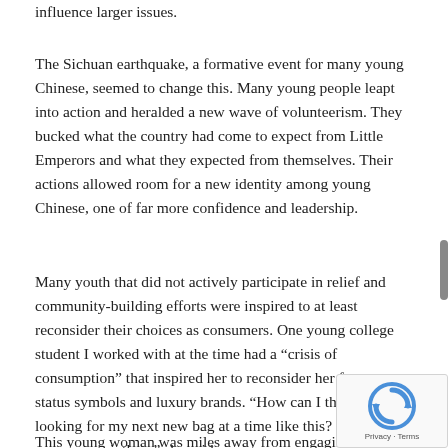influence larger issues.
The Sichuan earthquake, a formative event for many young Chinese, seemed to change this. Many young people leapt into action and heralded a new wave of volunteerism. They bucked what the country had come to expect from Little Emperors and what they expected from themselves. Their actions allowed room for a new identity among young Chinese, one of far more confidence and leadership.
Many youth that did not actively participate in relief and community-building efforts were inspired to at least reconsider their choices as consumers. One young college student I worked with at the time had a “crisis of consumption” that inspired her to reconsider her focus on status symbols and luxury brands. “How can I think about looking for my next new bag at a time like this? It just seems so pointless,” she said.
This young woman was miles away from engaging in